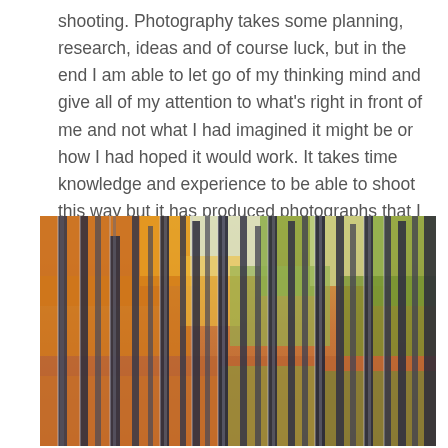shooting. Photography takes some planning, research, ideas and of course luck, but in the end I am able to let go of my thinking mind and give all of my attention to what's right in front of me and not what I had imagined it might be or how I had hoped it would work. It takes time knowledge and experience to be able to shoot this way but it has produced photographs that I believe are the best examples of what makes me happy.
[Figure (photo): A blurred artistic photograph of tall tree trunks in autumn, with orange, yellow, and green foliage visible through the trees. The image has a motion-blur effect creating vertical streaks of the dark tree trunks against colorful fall leaves.]